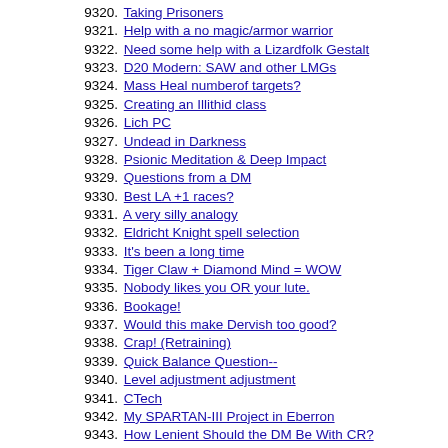9320. Taking Prisoners
9321. Help with a no magic/armor warrior
9322. Need some help with a Lizardfolk Gestalt
9323. D20 Modern: SAW and other LMGs
9324. Mass Heal numberof targets?
9325. Creating an Illithid class
9326. Lich PC
9327. Undead in Darkness
9328. Psionic Meditation & Deep Impact
9329. Questions from a DM
9330. Best LA +1 races?
9331. A very silly analogy
9332. Eldricht Knight spell selection
9333. It's been a long time
9334. Tiger Claw + Diamond Mind = WOW
9335. Nobody likes you OR your lute.
9336. Bookage!
9337. Would this make Dervish too good?
9338. Crap! (Retraining)
9339. Quick Balance Question--
9340. Level adjustment adjustment
9341. CTech
9342. My SPARTAN-III Project in Eberron
9343. How Lenient Should the DM Be With CR?
9344. Ioun Stone Protection
9345. Mount Question
9346. Making an Assassin
9347. Swordsage in an otherwise all-core campaign
9348. AD&D an introduction
9349. Incarnum question